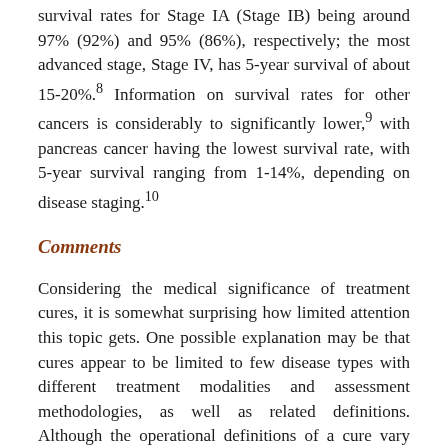survival rates for Stage IA (Stage IB) being around 97% (92%) and 95% (86%), respectively; the most advanced stage, Stage IV, has 5-year survival of about 15-20%.⁸ Information on survival rates for other cancers is considerably to significantly lower,⁹ with pancreas cancer having the lowest survival rate, with 5-year survival ranging from 1-14%, depending on disease staging.¹⁰
Comments
Considering the medical significance of treatment cures, it is somewhat surprising how limited attention this topic gets. One possible explanation may be that cures appear to be limited to few disease types with different treatment modalities and assessment methodologies, as well as related definitions. Although the operational definitions of a cure vary among the three therapeutic categories examined, i.e., prevention of infections, treatment of infections, and treatment of malignancies, at a high level, they principally